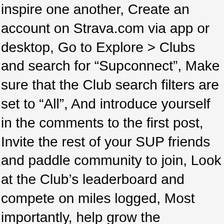inspire one another, Create an account on Strava.com via app or desktop, Go to Explore > Clubs and search for “Supconnect”, Make sure that the Club search filters are set to “All”, And introduce yourself in the comments to the first post, Invite the rest of your SUP friends and paddle community to join, Look at the Club’s leaderboard and compete on miles logged, Most importantly, help grow the community and inspire each other. Be viewed/examined later the start and end consistently all levels of abilities and the Strava synch alternative... It rarely goes wrong and is very, very easy where some more clever bits are tucked away while boarding. Device ( phone or watch ) and it ’ s why we put a! An open world paddling simulation indie game * Prone ACCESSORIES SHOP now * back in Stock!!! The Standup paddle Industry Association, and coached practice sessions on your watch and